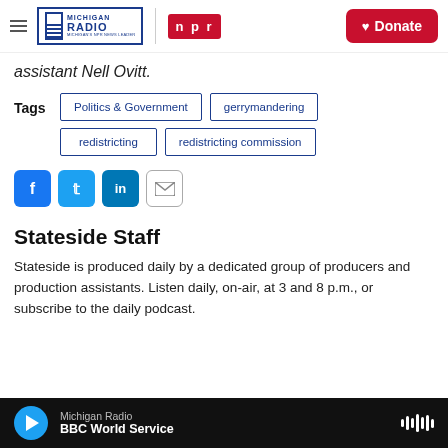Michigan Radio | NPR | Donate
assistant Nell Ovitt.
Tags: Politics & Government | gerrymandering | redistricting | redistricting commission
[Figure (infographic): Social share buttons: Facebook, Twitter, LinkedIn, Email]
Stateside Staff
Stateside is produced daily by a dedicated group of producers and production assistants. Listen daily, on-air, at 3 and 8 p.m., or subscribe to the daily podcast.
Michigan Radio | BBC World Service